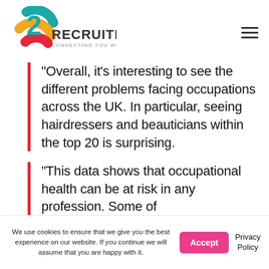[Figure (logo): 20 Recruitment logo — stylized '20' with teal, yellow, and red curved shapes, text reading 'RECRUITMENT' and 'CONNECTING YOU WITH TALENT']
“Overall, it’s interesting to see the different problems facing occupations across the UK. In particular, seeing hairdressers and beauticians within the top 20 is surprising.
“This data shows that occupational health can be at risk in any profession. Some of
We use cookies to ensure that we give you the best experience on our website. If you continue we will assume that you are happy with it.
Accept
Privacy Policy